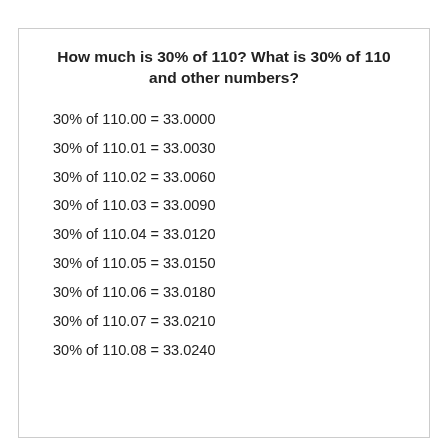How much is 30% of 110? What is 30% of 110 and other numbers?
30% of 110.00 = 33.0000
30% of 110.01 = 33.0030
30% of 110.02 = 33.0060
30% of 110.03 = 33.0090
30% of 110.04 = 33.0120
30% of 110.05 = 33.0150
30% of 110.06 = 33.0180
30% of 110.07 = 33.0210
30% of 110.08 = 33.0240